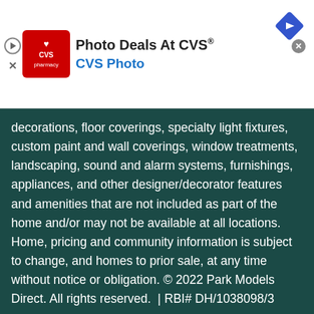[Figure (advertisement): CVS Pharmacy advertisement banner with red CVS logo, 'Photo Deals At CVS®' title, 'CVS Photo' subtitle in blue, and a blue diamond navigation arrow icon with close button]
decorations, floor coverings, specialty light fixtures, custom paint and wall coverings, window treatments, landscaping, sound and alarm systems, furnishings, appliances, and other designer/decorator features and amenities that are not included as part of the home and/or may not be available at all locations. Home, pricing and community information is subject to change, and homes to prior sale, at any time without notice or obligation. © 2022 Park Models Direct. All rights reserved. | RBI# DH/1038098/3
[Figure (advertisement): LT Rush Stone & Fireplace advertisement with logo, 'Fireplace Services' text and Open button]